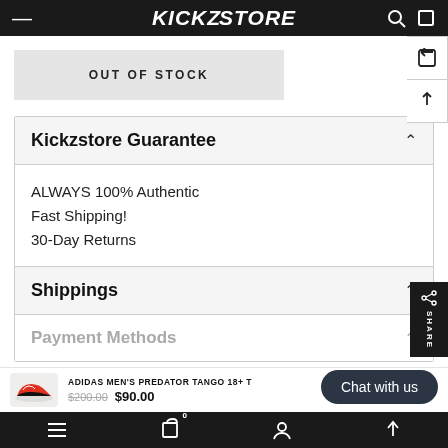Kickzstore
OUT OF STOCK
Kickzstore Guarantee
ALWAYS 100% Authentic
Fast Shipping!
30-Day Returns
Shippings
Payment Methods
ADIDAS MEN'S PREDATOR TANGO 18+ T
$200.00  $90.00
Navigation: Menu, Cart (0), Account, Up